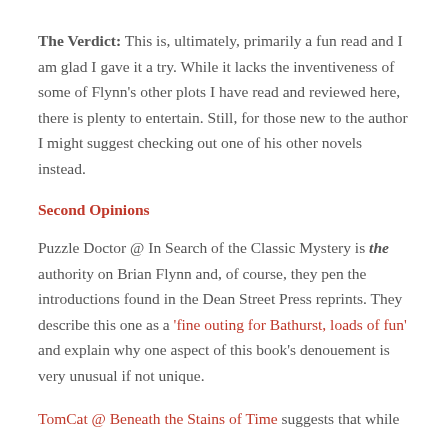The Verdict: This is, ultimately, primarily a fun read and I am glad I gave it a try. While it lacks the inventiveness of some of Flynn's other plots I have read and reviewed here, there is plenty to entertain. Still, for those new to the author I might suggest checking out one of his other novels instead.
Second Opinions
Puzzle Doctor @ In Search of the Classic Mystery is the authority on Brian Flynn and, of course, they pen the introductions found in the Dean Street Press reprints. They describe this one as a 'fine outing for Bathurst, loads of fun' and explain why one aspect of this book's denouement is very unusual if not unique.
TomCat @ Beneath the Stains of Time suggests that while